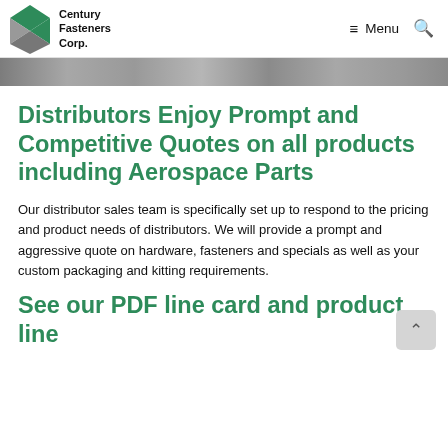Century Fasteners Corp. — Menu
[Figure (photo): Close-up strip of metal fasteners/screws in grayscale]
Distributors Enjoy Prompt and Competitive Quotes on all products including Aerospace Parts
Our distributor sales team is specifically set up to respond to the pricing and product needs of distributors. We will provide a prompt and aggressive quote on hardware, fasteners and specials as well as your custom packaging and kitting requirements.
See our PDF line card and product line